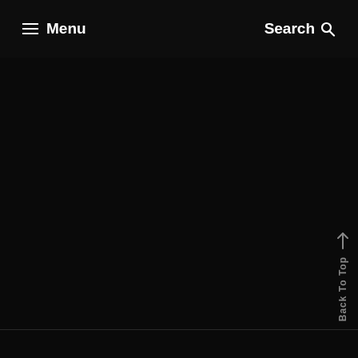☰ Menu    Search 🔍
[Figure (screenshot): Large dark/black content area below the navigation header, mostly blank/dark background]
↑ Back To Top